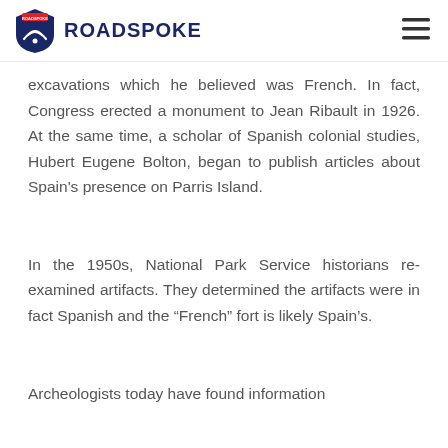ROADSPOKE
excavations which he believed was French. In fact, Congress erected a monument to Jean Ribault in 1926. At the same time, a scholar of Spanish colonial studies, Hubert Eugene Bolton, began to publish articles about Spain’s presence on Parris Island.
In the 1950s, National Park Service historians re-examined artifacts. They determined the artifacts were in fact Spanish and the “French” fort is likely Spain’s.
Archeologists today have found information